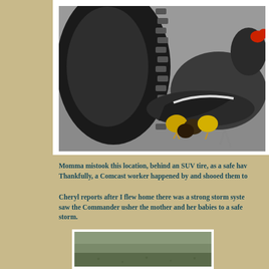[Figure (photo): A hen sheltering ducklings/chicks beneath her wings next to a large SUV tire on pavement]
Momma mistook this location, behind an SUV tire, as a safe hav... Thankfully, a Comcast worker happened by and shooed them to...
Cheryl reports after I flew home there was a strong storm syste... saw the Commander usher the mother and her babies to a safe ... storm.
[Figure (photo): Outdoor scene showing ground with grass, related to the duck/hen story]